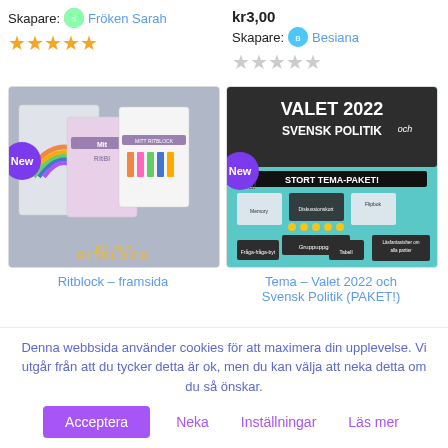kr3,00
Skapare: Fröken Sarah
Skapare: Besiana
[Figure (illustration): 5 filled orange stars (left) and 5 empty/grey stars (right) rating indicators]
[Figure (illustration): Left product card: Ritblock – framsida with grey background showing colorful notebook covers and a 'New' purple badge]
[Figure (illustration): Right product card: Tema – Valet 2022 och Svensk Politik (PAKET!) with teal background, 'New' purple badge and 'Rea!' label]
Ritblock – framsida
Tema – Valet 2022 och Svensk Politik (PAKET!)
Denna webbsida använder cookies för att maximera din upplevelse. Vi utgår från att du tycker detta är ok, men du kan välja att neka detta om du så önskar.
Acceptera
Neka
Inställningar
Läs mer